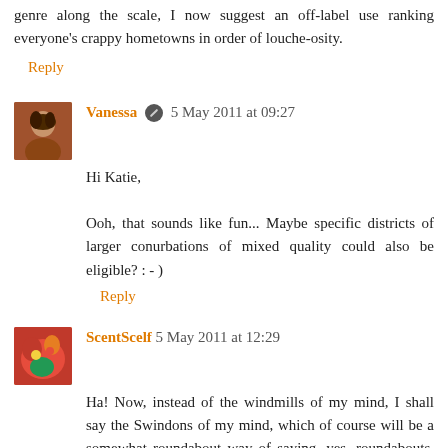genre along the scale, I now suggest an off-label use ranking everyone's crappy hometowns in order of louche-osity.
Reply
Vanessa 5 May 2011 at 09:27
Hi Katie,

Ooh, that sounds like fun... Maybe specific districts of larger conurbations of mixed quality could also be eligible? : - )
Reply
ScentScelf 5 May 2011 at 12:29
Ha! Now, instead of the windmills of my mind, I shall say the Swindons of my mind, which of course will be a somewhat roundabout way of saying, yes, roundabouts. Rather fitting, you know.

As it happens, I live not far from one of the few extant traffic